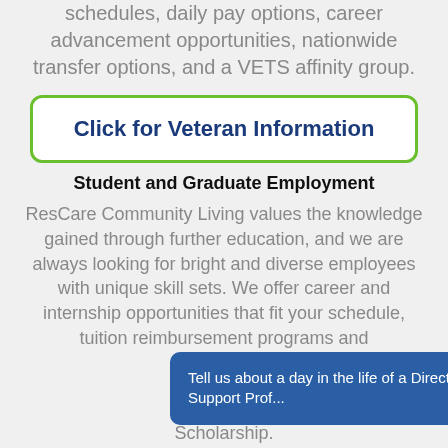schedules, daily pay options, career advancement opportunities, nationwide transfer options, and a VETS affinity group.
Click for Veteran Information
Student and Graduate Employment
ResCare Community Living values the knowledge gained through further education, and we are always looking for bright and diverse employees with unique skill sets. We offer career and internship opportunities that fit your schedule, tuition reimbursement programs and Scholarship.
Tell us about a day in the life of a Direct Support Prof...